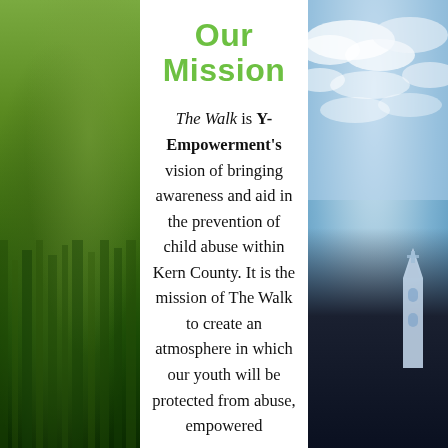[Figure (photo): Left background photo showing a green field/grass with natural lighting]
[Figure (photo): Right background photo showing a cloudy sky with a church steeple or tower and dark silhouetted landscape at bottom]
Our Mission
The Walk is Y-Empowerment's vision of bringing awareness and aid in the prevention of child abuse within Kern County. It is the mission of The Walk to create an atmosphere in which our youth will be protected from abuse, empowered